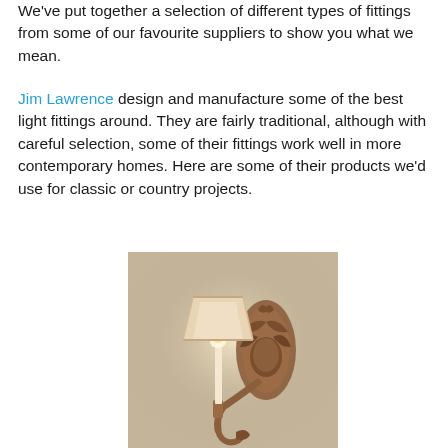We've put together a selection of different types of fittings from some of our favourite suppliers to show you what we mean.
Jim Lawrence design and manufacture some of the best light fittings around. They are fairly traditional, although with careful selection, some of their fittings work well in more contemporary homes. Here are some of their products we'd use for classic or country projects.
[Figure (photo): A traditional wall-mounted candle light fitting / sconce with an ornate bronze/copper backplate featuring leaf and pinecone motifs, a curved arm, candle column, and a cream fabric lampshade, photographed against a warm beige background.]